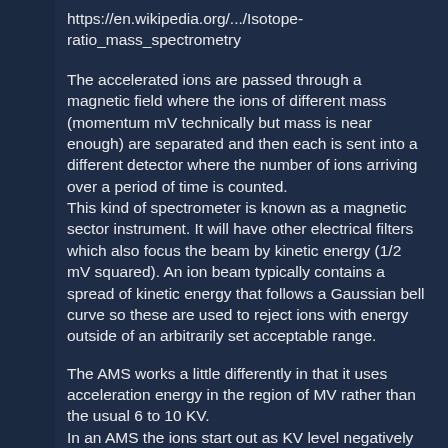https://en.wikipedia.org/.../Isotope-ratio_mass_spectrometry
The accelerated ions are passed through a magnetic field where the ions of different mass (momentum mV technically but mass is near enough) are separated and then each is sent into a different detector where the number of ions arriving over a period of time is counted. This kind of spectrometer is known as a magnetic sector instrument. It will have other electrical filters which also focus the beam by kinetic energy (1/2 mV squared). An ion beam typically contains a spread of kinetic energy that follows a Gaussian bell curve so these are used to reject ions with energy outside of an arbitrarily set acceptable range.
The AMS works a little differently in that it uses acceleration energy in the region of MV rather than the usual 6 to 10 KV. In an AMS the ions start out as KV level negatively charged ions which can often